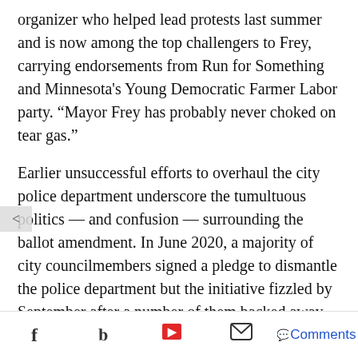organizer who helped lead protests last summer and is now among the top challengers to Frey, carrying endorsements from Run for Something and Minnesota's Young Democratic Farmer Labor party. “Mayor Frey has probably never choked on tear gas.”
Earlier unsuccessful efforts to overhaul the city police department underscore the tumultuous politics — and confusion — surrounding the ballot amendment. In June 2020, a majority of city councilmembers signed a pledge to dismantle the police department but the initiative fizzled by September after a number of them backed away from their pledges.
While activists were calling for defunding and abolishing police, some council members interpreted their demands to mean they merely wanted to reallocate portions of
f [twitter] [flipboard] [mail] Comments